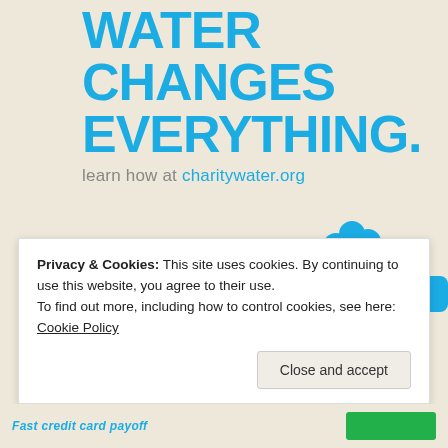[Figure (illustration): Charity: water advertisement poster with cyan/teal text 'WATER CHANGES EVERYTHING.' on a beige/cream background, with a tagline 'learn how at charitywater.org', and a graphic of a water faucet illustration and a person silhouette in teal blue]
WATER CHANGES EVERYTHING.
learn how at charitywater.org
Privacy & Cookies: This site uses cookies. By continuing to use this website, you agree to their use.
To find out more, including how to control cookies, see here: Cookie Policy
Close and accept
Fast credit card payoff